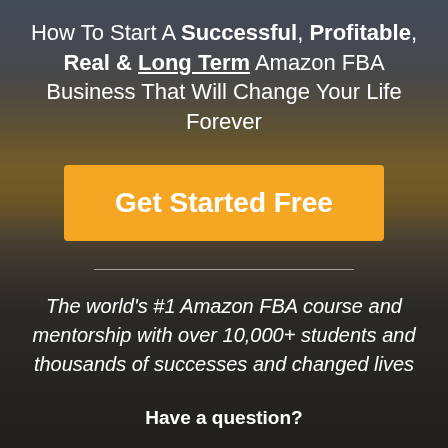How To Start A Successful, Profitable, Real & Long Term Amazon FBA Business That Will Change Your Life Forever
Get Started Free
The world's #1 Amazon FBA course and mentorship with over 10,000+ students and thousands of successes and changed lives
Have a question?